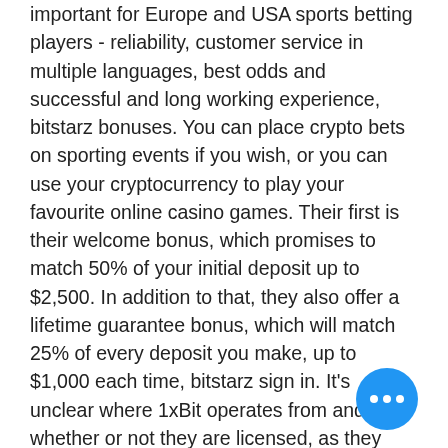important for Europe and USA sports betting players - reliability, customer service in multiple languages, best odds and successful and long working experience, bitstarz bonuses. You can place crypto bets on sporting events if you wish, or you can use your cryptocurrency to play your favourite online casino games. Their first is their welcome bonus, which promises to match 50% of your initial deposit up to $2,500. In addition to that, they also offer a lifetime guarantee bonus, which will match 25% of every deposit you make, up to $1,000 each time, bitstarz sign in. It's unclear where 1xBit operates from and whether or not they are licensed, as they choose not to disclose these details, 30 tours gratuits no deposit bitstarz. Popular Sports : Football, Tennis, Basketball, Ice Hockey, Volleyball, Table Tennis Other sports : Alpine Skiing, American Football, Badminton, Bandy, Biathlon, Bicycle Racing, Billiards, Boxing,